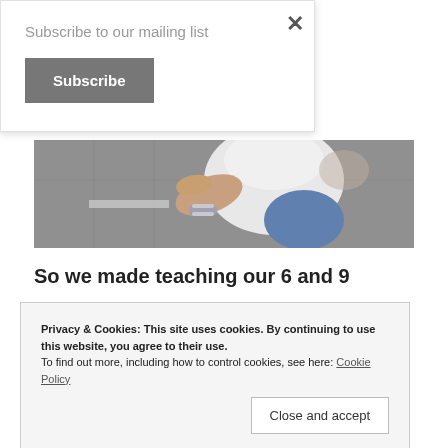Subscribe to our mailing list
Subscribe
[Figure (photo): Overhead view of a person in a white top and jeans, wearing a bracelet watch, sitting or crouching on a grey pavement surface.]
So we made teaching our 6 and 9
Privacy & Cookies: This site uses cookies. By continuing to use this website, you agree to their use.
To find out more, including how to control cookies, see here: Cookie Policy
Close and accept
It took a little longer for our C